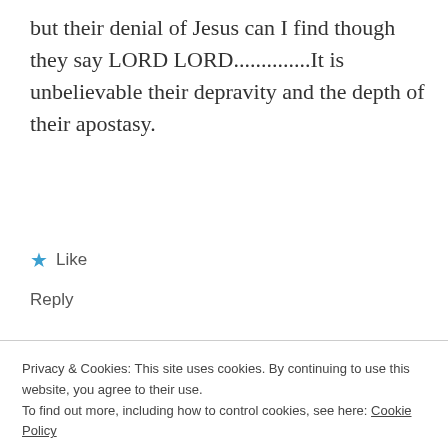but their denial of Jesus can I find though they say LORD LORD..............It is unbelievable their depravity and the depth of their apostasy.
★ Like
Reply
Robert Pickle
December 24, 2017 at 4:22 pm
It is so very clear now how Satan has set
Privacy & Cookies: This site uses cookies. By continuing to use this website, you agree to their use.
To find out more, including how to control cookies, see here: Cookie Policy
Close and accept
them to come and repent thyself the Lord God's Mighty Name and REPENT